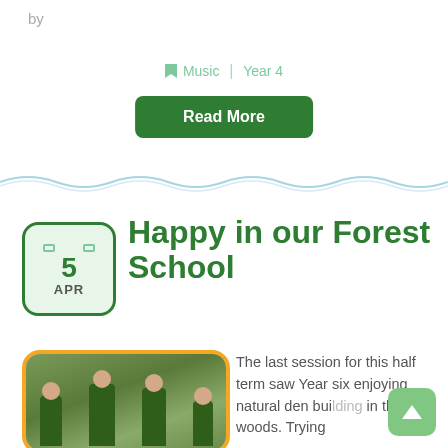by
Music | Year 4
Read More
Happy in our Forest School
[Figure (photo): Children in green school uniforms doing outdoor activities at Forest School, standing on wooden platforms surrounded by trees and woodland]
The last session for this half term saw Year six enjoying natural den bui... in the woods. Trying